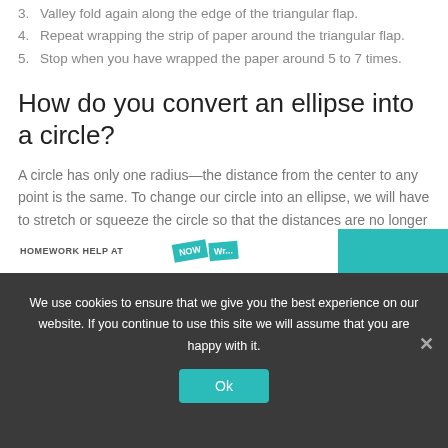3. Valley fold again along the edge of the triangular flap.
4. Repeat wrapping the strip of paper around the triangular flap.
5. Stop when you have wrapped the paper around 5 to 7 times.
How do you convert an ellipse into a circle?
A circle has only one radius—the distance from the center to any point is the same. To change our circle into an ellipse, we will have to stretch or squeeze the circle so that the distances are no longer the same.
[Figure (screenshot): Partial homework help website banner with 'HOMEWORK HELP AT' text and teal NOW/Write tags and blue box]
We use cookies to ensure that we give you the best experience on our website. If you continue to use this site we will assume that you are happy with it.